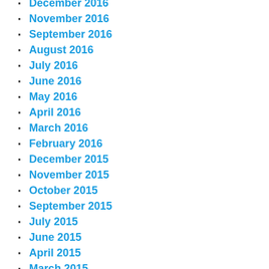December 2016
November 2016
September 2016
August 2016
July 2016
June 2016
May 2016
April 2016
March 2016
February 2016
December 2015
November 2015
October 2015
September 2015
July 2015
June 2015
April 2015
March 2015
February 2015
January 2015
December 2014